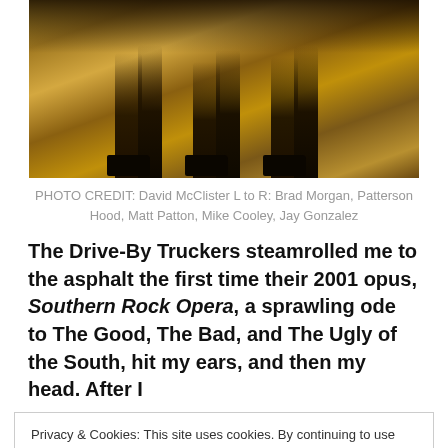[Figure (photo): Sepia-toned photo showing legs and feet of multiple people walking, warm golden/brown tones]
PHOTO CREDIT: David McClister L to R: Brad Morgan, Patterson Hood, Matt Patton, Mike Cooley, Jay Gonzalez
The Drive-By Truckers steamrolled me to the asphalt the first time their 2001 opus, Southern Rock Opera, a sprawling ode to The Good, The Bad, and The Ugly of the South, hit my ears, and then my head. After I
Privacy & Cookies: This site uses cookies. By continuing to use this website, you agree to their use.
To find out more, including how to control cookies, see here: Cookie Policy
American gong of '70s-style Southern Rock